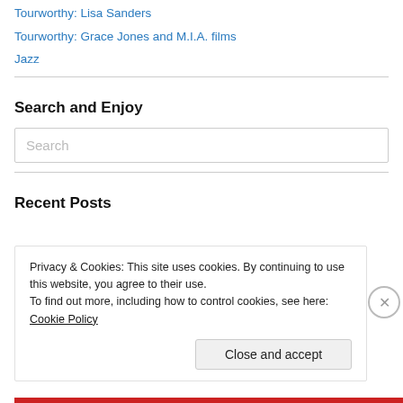Tourworthy: Lisa Sanders
Tourworthy: Grace Jones and M.I.A. films
Jazz
Search and Enjoy
Search
Recent Posts
Privacy & Cookies: This site uses cookies. By continuing to use this website, you agree to their use.
To find out more, including how to control cookies, see here: Cookie Policy
Close and accept